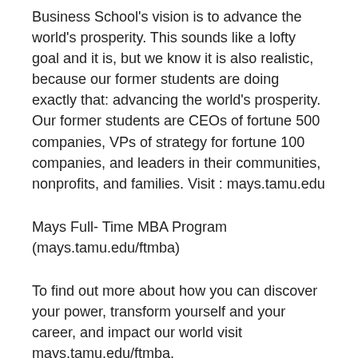Business School's vision is to advance the world's prosperity. This sounds like a lofty goal and it is, but we know it is also realistic, because our former students are doing exactly that: advancing the world's prosperity. Our former students are CEOs of fortune 500 companies, VPs of strategy for fortune 100 companies, and leaders in their communities, nonprofits, and families. Visit : mays.tamu.edu
Mays Full- Time MBA Program (mays.tamu.edu/ftmba)
To find out more about how you can discover your power, transform yourself and your career, and impact our world visit mays.tamu.edu/ftmba.
Where you can find us: